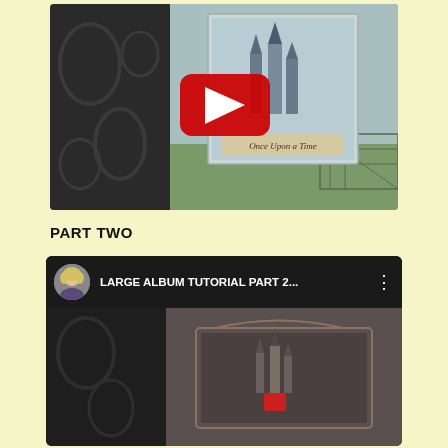[Figure (screenshot): YouTube video thumbnail showing a scrapbook album cover with dark embossed floral pattern on the left and a fairy-tale castle 'Once Upon a Time' decorative paper on the right, with a YouTube play button overlay in the center.]
PART TWO
[Figure (screenshot): YouTube video embed showing 'LARGE ALBUM TUTORIAL PART 2...' with a woman presenter avatar icon on the left, the video title in white text on dark background, and a preview of the album tutorial video below showing textured dark paper with a castle motif.]